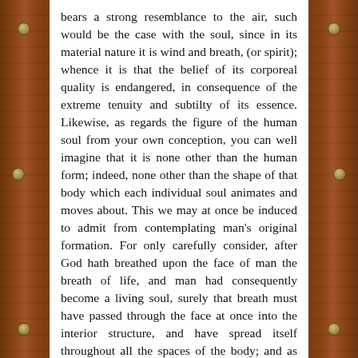bears a strong resemblance to the air, such would be the case with the soul, since in its material nature it is wind and breath, (or spirit); whence it is that the belief of its corporeal quality is endangered, in consequence of the extreme tenuity and subtilty of its essence. Likewise, as regards the figure of the human soul from your own conception, you can well imagine that it is none other than the human form; indeed, none other than the shape of that body which each individual soul animates and moves about. This we may at once be induced to admit from contemplating man's original formation. For only carefully consider, after God hath breathed upon the face of man the breath of life, and man had consequently become a living soul, surely that breath must have passed through the face at once into the interior structure, and have spread itself throughout all the spaces of the body; and as soon as by the divine inspiration it had become condensed, it must have impressed itself on each internal feature, which the condensation had filled in, and so have been, as it were, congealed in shape, (or stereotyped). Hence, by this densifying process, there arose a fixing of the soul's corporeity; and by the impression its figure was formed and moulded. This is the shape, no different from the